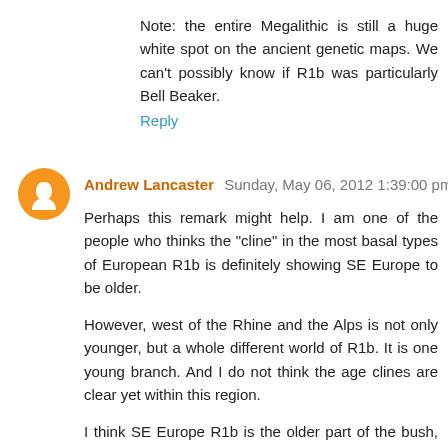Note: the entire Megalithic is still a huge white spot on the ancient genetic maps. We can't possibly know if R1b was particularly Bell Beaker.
Reply
Andrew Lancaster  Sunday, May 06, 2012 1:39:00 pm
Perhaps this remark might help. I am one of the people who thinks the "cline" in the most basal types of European R1b is definitely showing SE Europe to be older.
However, west of the Rhine and the Alps is not only younger, but a whole different world of R1b. It is one young branch. And I do not think the age clines are clear yet within this region.
I think SE Europe R1b is the older part of the bush, but from the Eastern Med to Western Europe there are many possible dispersal paths.
This one result hints at all sorts of possibilities, but it is not